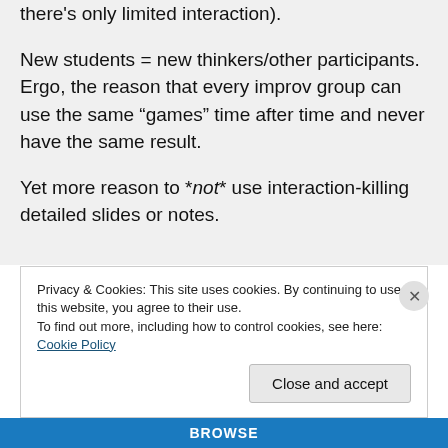there's only limited interaction).

New students = new thinkers/other participants. Ergo, the reason that every improv group can use the same “games” time after time and never have the same result.

Yet more reason to *not* use interaction-killing detailed slides or notes.
Privacy & Cookies: This site uses cookies. By continuing to use this website, you agree to their use.
To find out more, including how to control cookies, see here: Cookie Policy
Close and accept